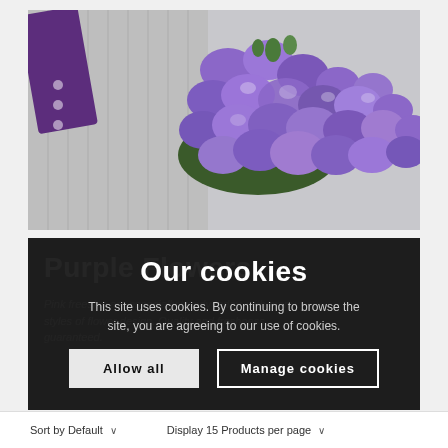[Figure (photo): Close-up photo of a bouquet of purple/lavender flowers (freesias or similar), with green stems, on a grey striped background. A purple ribbon is partially visible on the left.]
Purple Flowers
Pink freesias are especially trendy today, with many styles of flower design. Quality and freshness guaranteed.
Our cookies
This site uses cookies. By continuing to browse the site, you are agreeing to our use of cookies.
Allow all
Manage cookies
Sort by Default  ∨    Display 15 Products per page  ∨